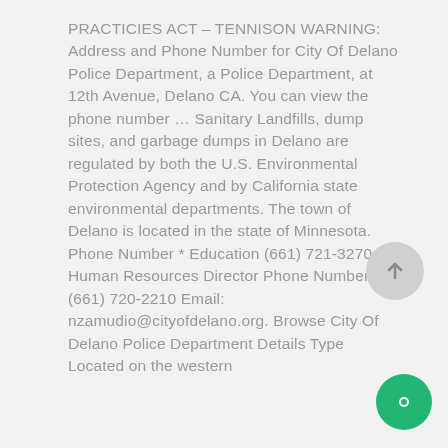PRACTICIES ACT – TENNISON WARNING: Address and Phone Number for City Of Delano Police Department, a Police Department, at 12th Avenue, Delano CA. You can view the phone number ... Sanitary Landfills, dump sites, and garbage dumps in Delano are regulated by both the U.S. Environmental Protection Agency and by California state environmental departments. The town of Delano is located in the state of Minnesota. Phone Number * Education (661) 721-3270. Human Resources Director Phone Number: (661) 720-2210 Email: nzamudio@cityofdelano.org. Browse City Of Delano Police Department Details Type Located on the western...